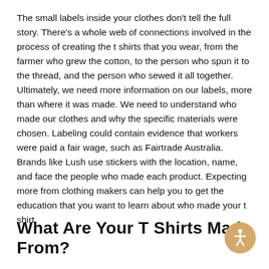The small labels inside your clothes don't tell the full story. There's a whole web of connections involved in the process of creating the t shirts that you wear, from the farmer who grew the cotton, to the person who spun it to the thread, and the person who sewed it all together. Ultimately, we need more information on our labels, more than where it was made. We need to understand who made our clothes and why the specific materials were chosen. Labeling could contain evidence that workers were paid a fair wage, such as Fairtrade Australia. Brands like Lush use stickers with the location, name, and face the people who made each product. Expecting more from clothing makers can help you to get the education that you want to learn about who made your t shirt.
What Are Your T Shirts Made From?